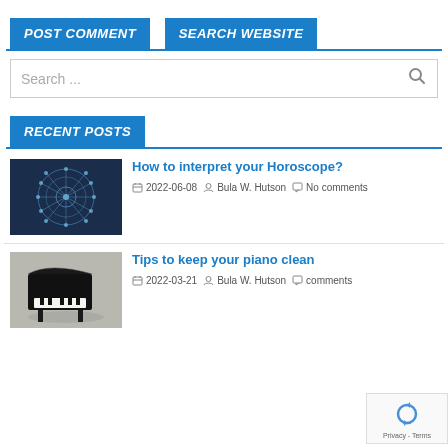POST COMMENT
SEARCH WEBSITE
Search ...
RECENT POSTS
How to interpret your Horoscope?
2022-06-08  Bula W. Hutson  No comments
Tips to keep your piano clean
2022-03-21  Bula W. Hutson  comments